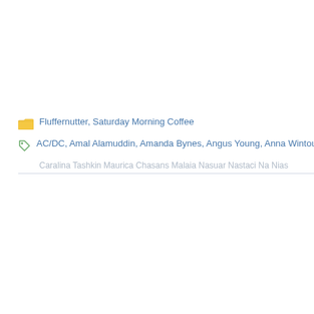Fluffernutter, Saturday Morning Coffee
AC/DC, Amal Alamuddin, Amanda Bynes, Angus Young, Anna Wintour, Cat Stevens
(truncated/faded continuation of tags)